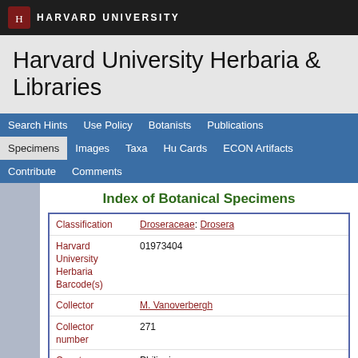HARVARD UNIVERSITY
Harvard University Herbaria & Libraries
Search Hints  Use Policy  Botanists  Publications  Specimens  Images  Taxa  Hu Cards  ECON Artifacts  Contribute  Comments
Index of Botanical Specimens
| Field | Value |
| --- | --- |
| Classification | Droseraceae: Drosera |
| Harvard University Herbaria Barcode(s) | 01973404 |
| Collector | M. Vanoverbergh |
| Collector number | 271 |
| Country | Philippines |
| Geography | Asia: Southeast Asia (Region): Philippines: Luzon |